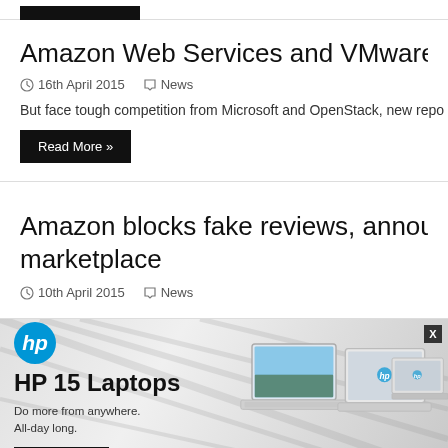[Figure (screenshot): Black button/bar at top of page]
Amazon Web Services and VMware nam
16th April 2015   News
But face tough competition from Microsoft and OpenStack, new repo
Read More »
Amazon blocks fake reviews, announces marketplace
10th April 2015   News
[Figure (photo): HP 15 Laptops advertisement banner with HP logo, laptop images, tagline 'Do more from anywhere. All-day long.' and SHOP NOW button]